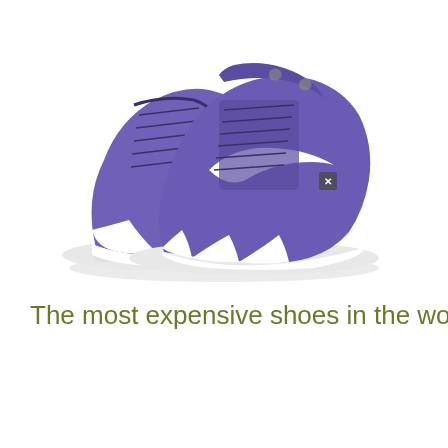[Figure (photo): A pair of purple Nike Kobe 1 Protro high-top basketball sneakers with white swoosh and white soles, photographed on a white background.]
The most expensive shoes in the world